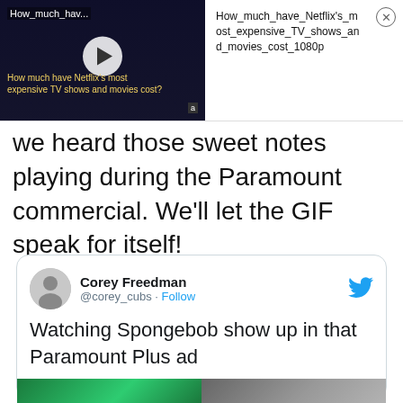[Figure (screenshot): Video widget showing a Netflix thumbnail with two people in dark tones, a play button, title 'How_much_hav...' and text 'How much have Netflix's most expensive TV shows and movies cost?'. To the right: title text 'How_much_have_Netflix's_most_expensive_TV_shows_and_movies_cost_1080p' with a close (X) button.]
we heard those sweet notes playing during the Paramount commercial. We'll let the GIF speak for itself!
[Figure (screenshot): Embedded tweet card from Corey Freedman (@corey_cubs) with a Follow link and Twitter bird icon. Tweet text: 'Watching Spongebob show up in that Paramount Plus ad'. Below is a partial image row showing two images.]